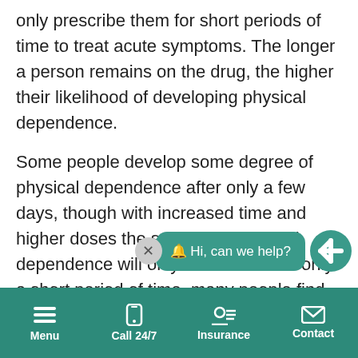only prescribe them for short periods of time to treat acute symptoms. The longer a person remains on the drug, the higher their likelihood of developing physical dependence.
Some people develop some degree of physical dependence after only a few days, though with increased time and higher doses the severity of physical dependence will only increase. After only a short period of time, many people find that they are unable to function witho...
What are the Signs of D...
[Figure (screenshot): Chat widget overlay showing a close button (X circle) and a teal speech bubble saying '🔔 Hi, can we help?' with a teal logo icon to the right]
Menu | Call 24/7 | Insurance | Contact